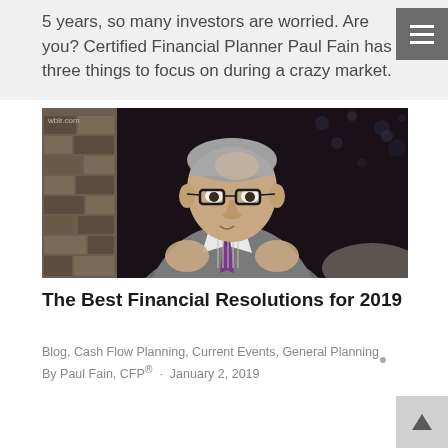5 years, so many investors are worried. Are you? Certified Financial Planner Paul Fain has three things to focus on during a crazy market.
[Figure (photo): Man in grey suit with purple tie and glasses speaking on TV, with wblr.com watermark in top left corner]
The Best Financial Resolutions for 2019
Blog, Cash Flow Planning, Current Events, General Planning
By Paul Fain, CFP® · January 2, 2019